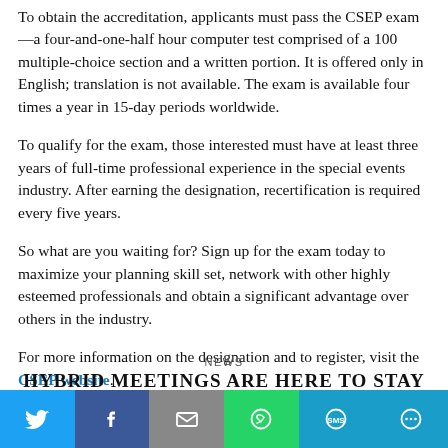To obtain the accreditation, applicants must pass the CSEP exam—a four-and-one-half hour computer test comprised of a 100 multiple-choice section and a written portion. It is offered only in English; translation is not available. The exam is available four times a year in 15-day periods worldwide.
To qualify for the exam, those interested must have at least three years of full-time professional experience in the special events industry. After earning the designation, recertification is required every five years.
So what are you waiting for? Sign up for the exam today to maximize your planning skill set, network with other highly esteemed professionals and obtain a significant advantage over others in the industry.
For more information on the designation and to register, visit the CSEP website.
NEWS
HYBRID MEETINGS ARE HERE TO STAY